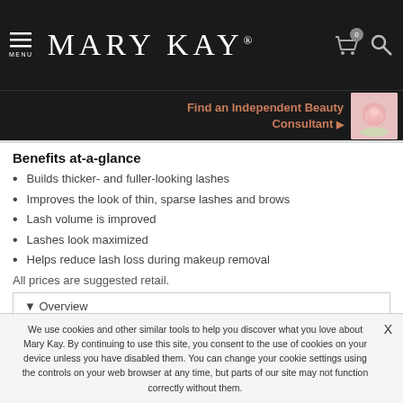MENU | MARY KAY | Cart 0 | Search
Find an Independent Beauty Consultant ▶
Benefits at-a-glance
Builds thicker- and fuller-looking lashes
Improves the look of thin, sparse lashes and brows
Lash volume is improved
Lashes look maximized
Helps reduce lash loss during makeup removal
All prices are suggested retail.
▼ Overview
We use cookies and other similar tools to help you discover what you love about Mary Kay. By continuing to use this site, you consent to the use of cookies on your device unless you have disabled them. You can change your cookie settings using the controls on your web browser at any time, but parts of our site may not function correctly without them.